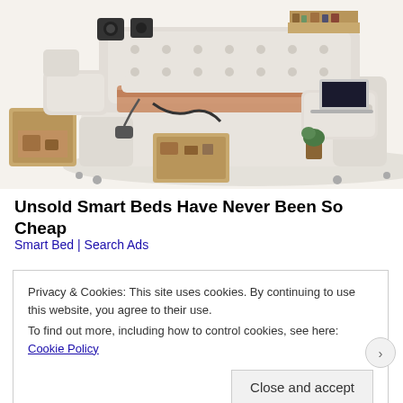[Figure (photo): A large multi-functional smart bed with cream/beige leather upholstery, built-in speakers, storage drawers, reclining massage chair attachment, laptop stand, and shelving — shown in a product photo on a white background.]
Unsold Smart Beds Have Never Been So Cheap
Smart Bed | Search Ads
Privacy & Cookies: This site uses cookies. By continuing to use this website, you agree to their use.
To find out more, including how to control cookies, see here: Cookie Policy
Close and accept